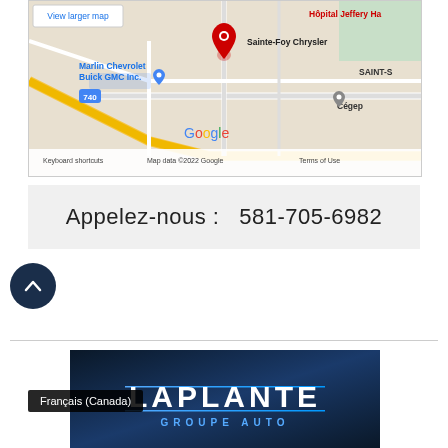[Figure (map): Google Maps screenshot showing area around Sainte-Foy Chrysler, Marlin Chevrolet Buick GMC Inc., Hôpital Jeffery Ha, and Cégep in Quebec. Shows 'View larger map' link, route 740, Google logo, keyboard shortcuts, map data ©2022 Google, Terms of Use.]
Appelez-nous :   581-705-6982
[Figure (logo): Laplante Groupe Auto logo on dark navy blue background with light blue accent lines]
Français (Canada)